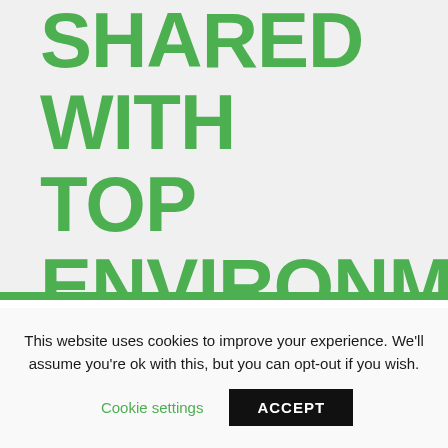SHARED WITH TOP ENVIRONMENTAL OFFICIALS
Home » News
This website uses cookies to improve your experience. We'll assume you're ok with this, but you can opt-out if you wish.
Cookie settings  ACCEPT